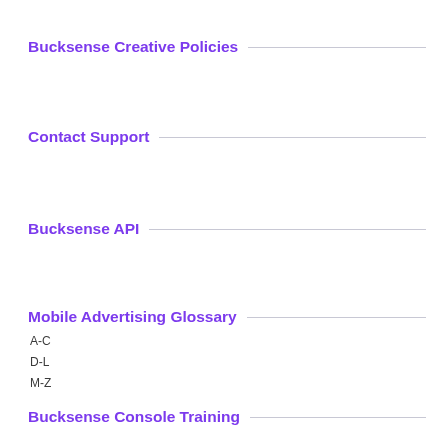Bucksense Creative Policies
Contact Support
Bucksense API
Mobile Advertising Glossary
A-C
D-L
M-Z
Bucksense Console Training